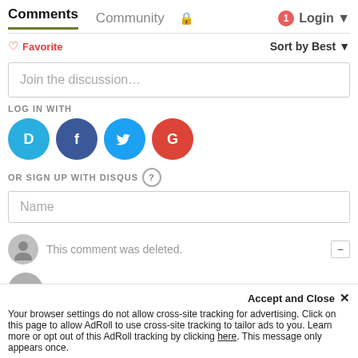Comments  Community  Login
Favorite  Sort by Best
Join the discussion…
LOG IN WITH
[Figure (infographic): Social login icons: Disqus (blue circle with D), Facebook (dark blue circle with f), Twitter (light blue circle with bird), Google (red circle with G)]
OR SIGN UP WITH DISQUS ?
Name
This comment was deleted.
Duke Silver → Guest
Accept and Close ✕
Your browser settings do not allow cross-site tracking for advertising. Click on this page to allow AdRoll to use cross-site tracking to tailor ads to you. Learn more or opt out of this AdRoll tracking by clicking here. This message only appears once.